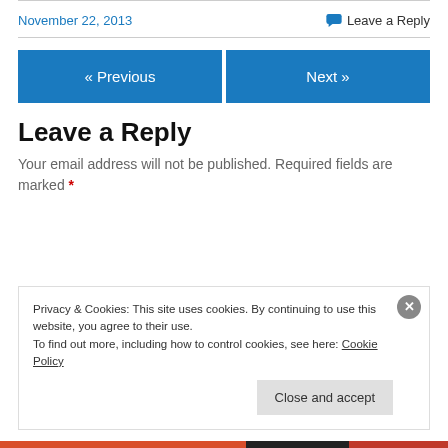November 22, 2013
💬 Leave a Reply
« Previous
Next »
Leave a Reply
Your email address will not be published. Required fields are marked *
Privacy & Cookies: This site uses cookies. By continuing to use this website, you agree to their use. To find out more, including how to control cookies, see here: Cookie Policy
Close and accept